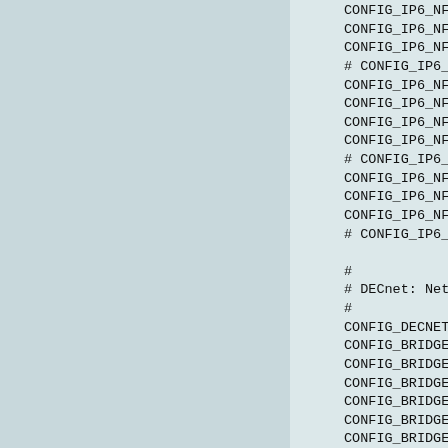CONFIG_IP6_NF_MATCH_HL=y
CONFIG_IP6_NF_MATCH_IPV6HEADER=y
CONFIG_IP6_NF_MATCH_MH=y
# CONFIG_IP6_NF_MATCH_RPFILTER is no
CONFIG_IP6_NF_MATCH_RT=y
CONFIG_IP6_NF_TARGET_HL=y
CONFIG_IP6_NF_FILTER=y
CONFIG_IP6_NF_TARGET_REJECT=y
# CONFIG_IP6_NF_TARGET_SYNPROXY is n
CONFIG_IP6_NF_MANGLE=y
CONFIG_IP6_NF_RAW=y
CONFIG_IP6_NF_SECURITY=y
# CONFIG_IP6_NF_NAT is not set

#
# DECnet: Netfilter Configuration
#
CONFIG_DECNET_NF_GRABULATOR=y
CONFIG_BRIDGE_NF_EBTABLES=y
CONFIG_BRIDGE_EBT_BROUTE=y
CONFIG_BRIDGE_EBT_T_FILTER=y
CONFIG_BRIDGE_EBT_T_NAT=y
CONFIG_BRIDGE_EBT_802_3=y
CONFIG_BRIDGE_EBT_AMONG=y
CONFIG_BRIDGE_EBT_ARP=y
CONFIG_BRIDGE_EBT_IP=y
CONFIG_BRIDGE_EBT_IP6=y
CONFIG_BRIDGE_EBT_LIMIT=y
CONFIG_BRIDGE_EBT_MARK=y
CONFIG_BRIDGE_EBT_PKTTYPE=y
CONFIG_BRIDGE_EBT_STP...